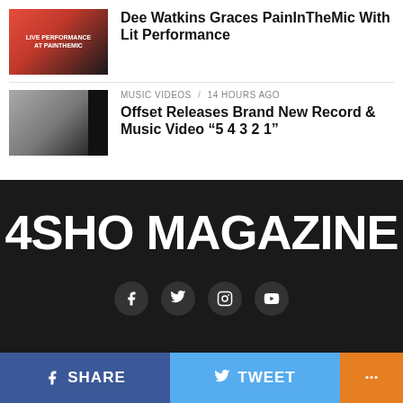[Figure (photo): Thumbnail image for Dee Watkins live performance at PainInTheMic, red and black background with text 'LIVE PERFORMANCE AT PAINTHEMIC']
Dee Watkins Graces PainInTheMic With Lit Performance
MUSIC VIDEOS / 14 hours ago
[Figure (photo): Thumbnail image for Offset music video '5 4 3 2 1', person crouching outdoors with black strip on right]
Offset Releases Brand New Record & Music Video “5 4 3 2 1”
[Figure (logo): 4SHO MAGAZINE logo in large white bold text on dark background with social media icons below]
SHARE  TWEET  ...